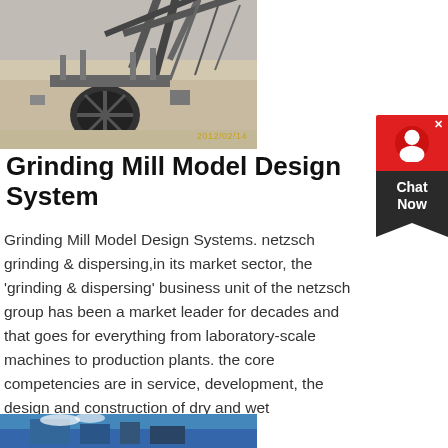[Figure (photo): Industrial grinding mill / crushing plant machinery photograph with timestamp 2012/02/14]
Grinding Mill Model Design System
Grinding Mill Model Design Systems. netzsch grinding & dispersing,in its market sector, the 'grinding & dispersing' business unit of the netzsch group has been a market leader for decades and that goes for everything from laboratory-scale machines to production plants. the core competencies are in service, development, the design and construction of dry and wet
get price
[Figure (photo): Industrial blue machinery / equipment photograph, partially visible at bottom of page]